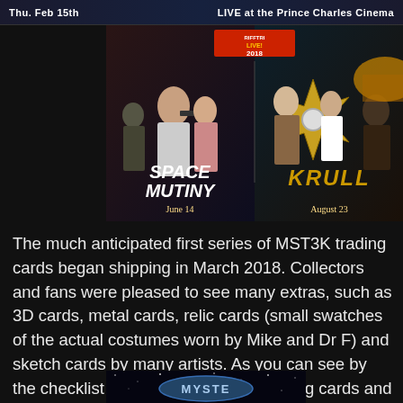Thu. Feb 15th    LIVE at the Prince Charles Cinema
[Figure (photo): Movie poster collage showing RiffTrax Live 2018 event with Space Mutiny (June 14) and Krull (August 23)]
The much anticipated first series of MST3K trading cards began shipping in March 2018. Collectors and fans were pleased to see many extras, such as 3D cards, metal cards, relic cards (small swatches of the actual costumes worn by Mike and Dr F) and sketch cards by many artists. As you can see by the checklist there were many interesting cards and subsets.
[Figure (photo): Mystery Science Theater 3000 trading card box bottom portion visible]